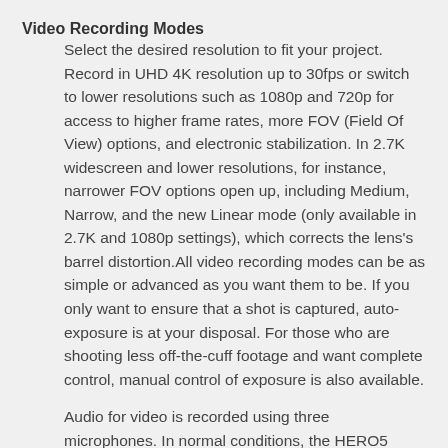Video Recording Modes
Select the desired resolution to fit your project. Record in UHD 4K resolution up to 30fps or switch to lower resolutions such as 1080p and 720p for access to higher frame rates, more FOV (Field Of View) options, and electronic stabilization. In 2.7K widescreen and lower resolutions, for instance, narrower FOV options open up, including Medium, Narrow, and the new Linear mode (only available in 2.7K and 1080p settings), which corrects the lens's barrel distortion.All video recording modes can be as simple or advanced as you want them to be. If you only want to ensure that a shot is captured, auto-exposure is at your disposal. For those who are shooting less off-the-cuff footage and want complete control, manual control of exposure is also available.
Audio for video is recorded using three microphones. In normal conditions, the HERO5 Black